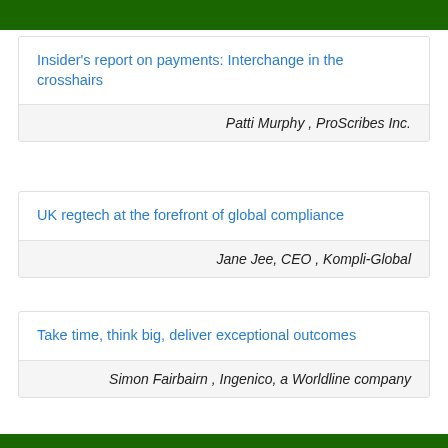Insider's report on payments: Interchange in the crosshairs
Patti Murphy , ProScribes Inc.
UK regtech at the forefront of global compliance
Jane Jee, CEO , Kompli-Global
Take time, think big, deliver exceptional outcomes
Simon Fairbairn , Ingenico, a Worldline company